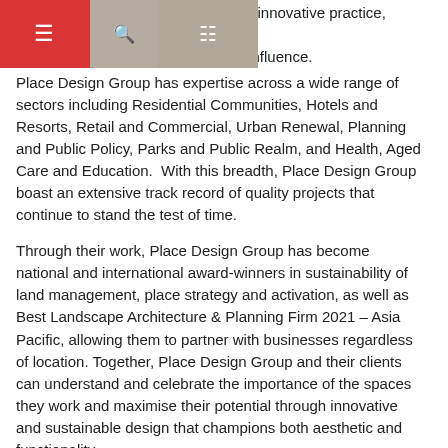focus on creative thinking as well as innovative practice, industry [ge a] ategic influence.
Place Design Group has expertise across a wide range of sectors including Residential Communities, Hotels and Resorts, Retail and Commercial, Urban Renewal, Planning and Public Policy, Parks and Public Realm, and Health, Aged Care and Education.  With this breadth, Place Design Group boast an extensive track record of quality projects that continue to stand the test of time.
Through their work, Place Design Group has become national and international award-winners in sustainability of land management, place strategy and activation, as well as Best Landscape Architecture & Planning Firm 2021 – Asia Pacific, allowing them to partner with businesses regardless of location. Together, Place Design Group and their clients can understand and celebrate the importance of the spaces they work and maximise their potential through innovative and sustainable design that champions both aesthetic and functionality.
All of this has led to transforming spaces into truly breath-taking and exceptional places for towns, cities, and communities. In Australia, the spotlight and attention has shifted to coastal and regional areas. Place Design Group are seizing this time to ensure